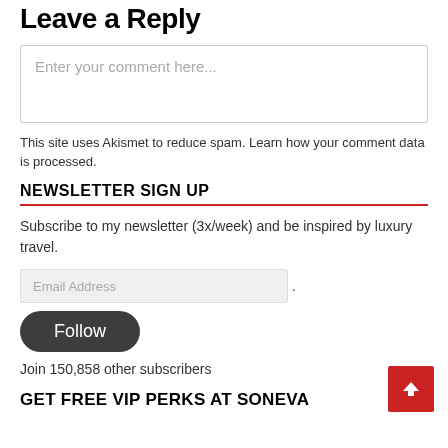Leave a Reply
[Figure (other): Comment text input box with placeholder text 'Enter your comment here...']
This site uses Akismet to reduce spam. Learn how your comment data is processed.
NEWSLETTER SIGN UP
Subscribe to my newsletter (3x/week) and be inspired by luxury travel.
[Figure (other): Email Address input field with a dot after it]
[Figure (other): Follow button, dark rounded rectangle]
Join 150,858 other subscribers
GET FREE VIP PERKS AT SONEVA